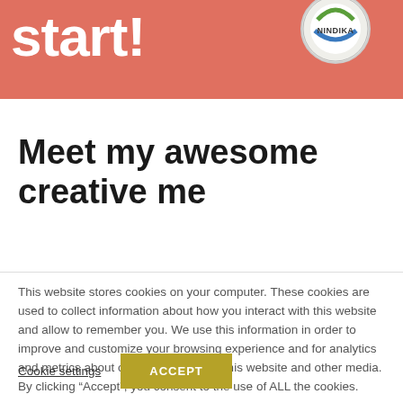start!
[Figure (logo): Nindika bottle cap logo with green and blue design]
Meet my awesome creative me
This website stores cookies on your computer. These cookies are used to collect information about how you interact with this website and allow to remember you. We use this information in order to improve and customize your browsing experience and for analytics and metrics about our visitors both on this website and other media. By clicking “Accept”, you consent to the use of ALL the cookies.
Cookie settings
ACCEPT